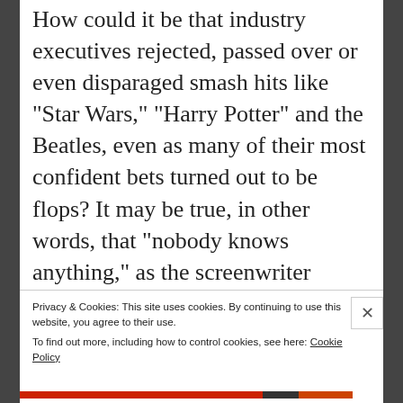How could it be that industry executives rejected, passed over or even disparaged smash hits like “Star Wars,” “Harry Potter” and the Beatles, even as many of their most confident bets turned out to be flops? It may be true, in other words, that “nobody knows anything,” as the screenwriter William Goldman once said about Hollywood. But why? Of course, the experts may simply not be as smart as they would like us to believe. Recent research
Privacy & Cookies: This site uses cookies. By continuing to use this website, you agree to their use.
To find out more, including how to control cookies, see here: Cookie Policy